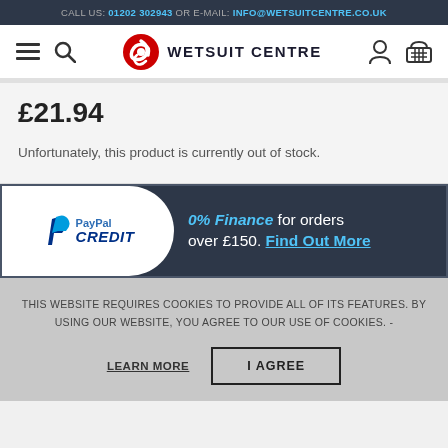CALL US: 01202 302943 OR E-MAIL: INFO@WETSUITCENTRE.CO.UK
[Figure (logo): Wetsuit Centre logo with red and blue swirl icon and text WETSUIT CENTRE]
£21.94
Unfortunately, this product is currently out of stock.
[Figure (infographic): PayPal Credit banner: 0% Finance for orders over £150. Find Out More]
THIS WEBSITE REQUIRES COOKIES TO PROVIDE ALL OF ITS FEATURES. BY USING OUR WEBSITE, YOU AGREE TO OUR USE OF COOKIES. -
LEARN MORE    I AGREE